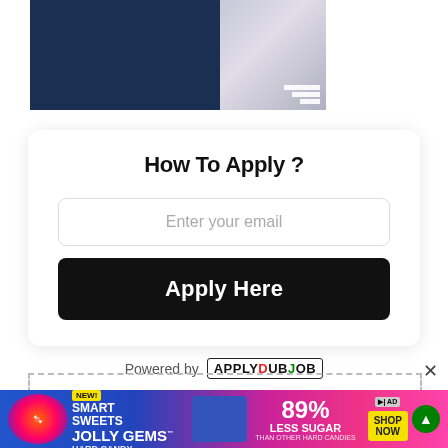[Figure (photo): Two-panel image: left panel is solid dark navy blue rectangle, right panel is blurred/faded image with a small white logo mark in the bottom right corner]
How To Apply ?
Enter your email
Apply Here
Powered by APPLYDUBJOB
[Figure (infographic): Smart Sweets Jolly Gems Hard Candy advertisement banner: 89% Less Sugar Than Other Hard Candies, with SHOP NOW button]